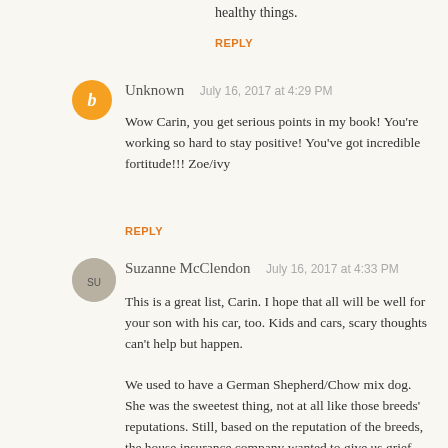healthy things.
REPLY
Unknown   July 16, 2017 at 4:29 PM
Wow Carin, you get serious points in my book! You're working so hard to stay positive! You've got incredible fortitude!!! Zoe/ivy
REPLY
Suzanne McClendon   July 16, 2017 at 4:33 PM
This is a great list, Carin. I hope that all will be well for your son with his car, too. Kids and cars, scary thoughts can't help but happen.
We used to have a German Shepherd/Chow mix dog. She was the sweetest thing, not at all like those breeds' reputations. Still, based on the reputation of the breeds, the house insurance company wanted to give us grief over here. She